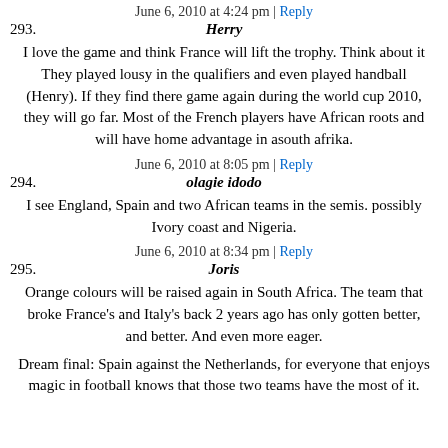June 6, 2010 at 4:24 pm | Reply
293. Herry
I love the game and think France will lift the trophy. Think about it They played lousy in the qualifiers and even played handball (Henry). If they find there game again during the world cup 2010, they will go far. Most of the French players have African roots and will have home advantage in asouth afrika.
June 6, 2010 at 8:05 pm | Reply
294. olagie idodo
I see England, Spain and two African teams in the semis. possibly Ivory coast and Nigeria.
June 6, 2010 at 8:34 pm | Reply
295. Joris
Orange colours will be raised again in South Africa. The team that broke France's and Italy's back 2 years ago has only gotten better, and better. And even more eager.
Dream final: Spain against the Netherlands, for everyone that enjoys magic in football knows that those two teams have the most of it.